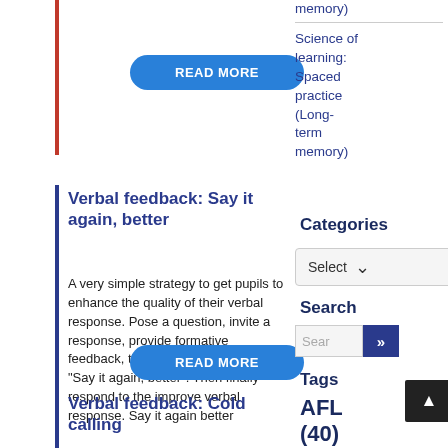[Figure (other): READ MORE button (blue rounded rectangle) at top of page]
memory)
Science of learning: Spaced practice (Long-term memory)
Verbal feedback: Say it again, better
A very simple strategy to get pupils to enhance the quality of their verbal response. Pose a question, invite a response, provide formative feedback, then request the pupil to "Say it again, better". Then finally respond to the improve verbal response. Say it again better
[Figure (other): READ MORE button (blue rounded rectangle)]
Categories
[Figure (other): Select dropdown widget]
Search
[Figure (other): Search input box with submit button]
Tags
AFL (40)
Verbal feedback: Cold calling